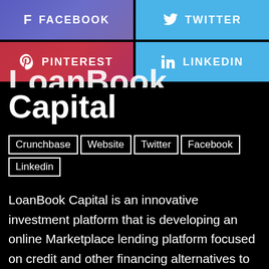[Figure (other): Social media share buttons: Facebook (purple-blue), Twitter (light blue), Pinterest (red), LinkedIn (light blue)]
LoanBook Capital
Crunchbase
Website
Twitter
Facebook
Linkedin
LoanBook Capital is an innovative investment platform that is developing an online Marketplace lending platform focused on credit and other financing alternatives to traditional bank financing, offering: (i) An attractive new class of asset for any kind of